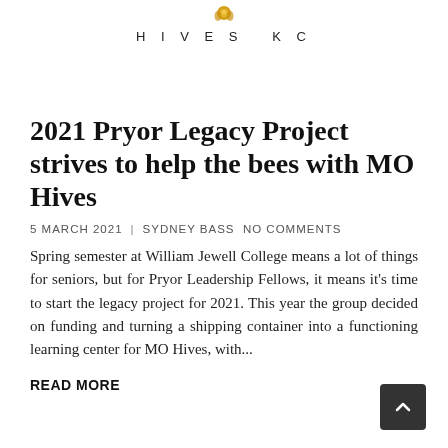HIVES KC
2021 Pryor Legacy Project strives to help the bees with MO Hives
5 MARCH 2021 | SYDNEY BASS  NO COMMENTS
Spring semester at William Jewell College means a lot of things for seniors, but for Pryor Leadership Fellows, it means it's time to start the legacy project for 2021. This year the group decided on funding and turning a shipping container into a functioning learning center for MO Hives, with...
READ MORE